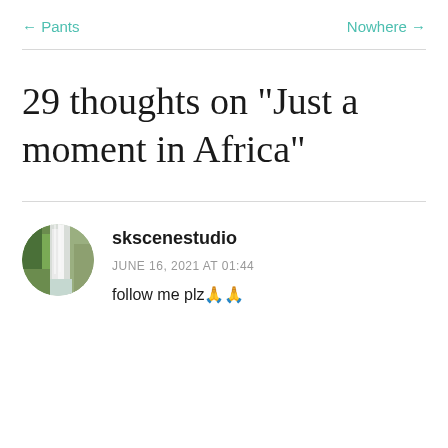← Pants    Nowhere →
29 thoughts on “Just a moment in Africa”
skscenestudio
JUNE 16, 2021 AT 01:44
follow me plz🙏🙏